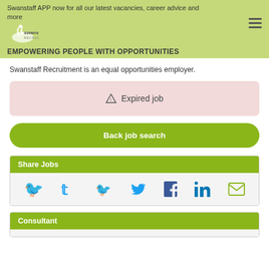Swanstaff APP now for all our latest vacancies, career advice and more
EMPOWERING PEOPLE WITH OPPORTUNITIES
Swanstaff Recruitment is an equal opportunities employer.
⚠ Expired job
Back job search
Share Jobs
[Figure (other): Social sharing icons: Twitter, Facebook, LinkedIn, Email]
Consultant